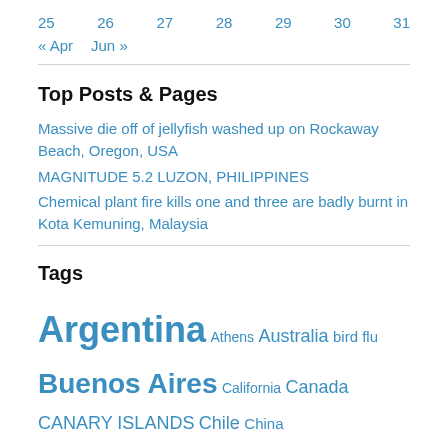25  26  27  28  29  30  31
« Apr   Jun »
Top Posts & Pages
Massive die off of jellyfish washed up on Rockaway Beach, Oregon, USA
MAGNITUDE 5.2 LUZON, PHILIPPINES
Chemical plant fire kills one and three are badly burnt in Kota Kemuning, Malaysia
Tags
Argentina  Athens  Australia  bird flu  Buenos Aires  California  Canada  CANARY ISLANDS  Chile  China  coronavirus  COVID-19  dead birds  dead fish